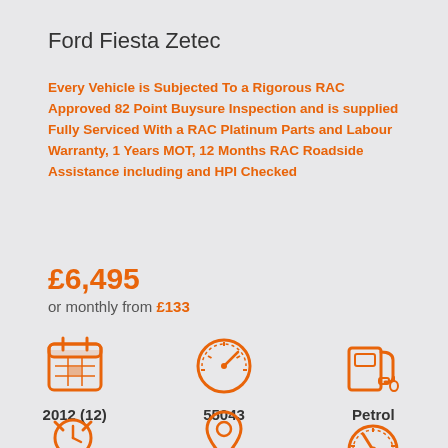Ford Fiesta Zetec
Every Vehicle is Subjected To a Rigorous RAC Approved 82 Point Buysure Inspection and is supplied Fully Serviced With a RAC Platinum Parts and Labour Warranty, 1 Years MOT, 12 Months RAC Roadside Assistance including and HPI Checked
£6,495
or monthly from £133
[Figure (infographic): Three icons: calendar icon labeled 2012 (12), speedometer icon labeled 55043, fuel pump icon labeled Petrol]
[Figure (infographic): Three icons at bottom: alarm clock icon, map pin icon, speedometer/gauge icon (partially visible)]